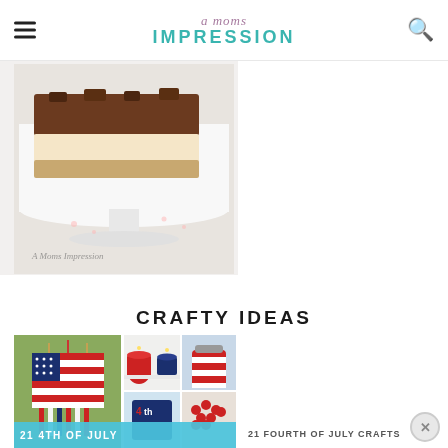a moms impression — IMPRESSION
[Figure (photo): Close-up photo of a chocolate and cream layered dessert bar on a white cake stand, with decorative elements visible. Watermark reads 'A Moms Impression'.]
CRAFTY IDEAS
[Figure (photo): Collage of Fourth of July craft ideas including a fabric American flag wall hanging, patriotic mason jar candles, red-white painted jars, and other 4th of July crafts. Banner reads '21 4TH OF JULY' and '21 FOURTH OF JULY CRAFTS'.]